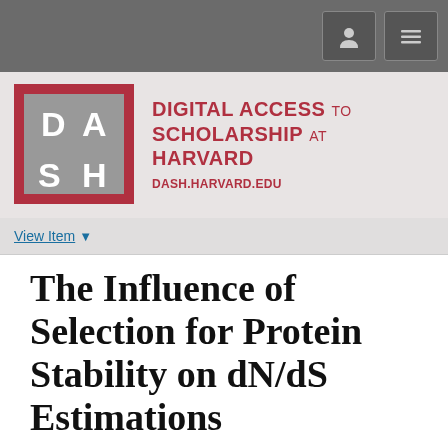DIGITAL ACCESS TO SCHOLARSHIP AT HARVARD — DASH.HARVARD.EDU
View Item
The Influence of Selection for Protein Stability on dN/dS Estimations
[Figure (other): Thumbnail preview of the PDF document]
View/Open 4224349.pdf (7.323Mb)